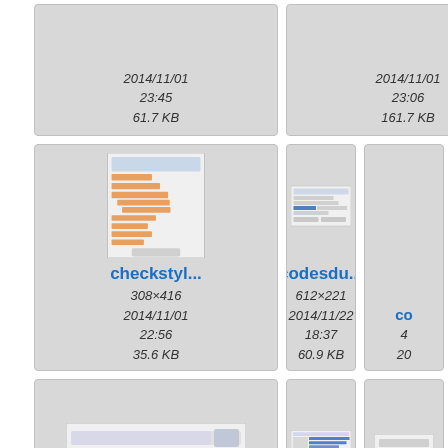[Figure (screenshot): Partial tile top-left area cut off, date 2014/11/01 23:45, size 61.7 KB]
[Figure (screenshot): Partial tile top-center, date 2014/11/01 23:06, size 161.7 KB]
[Figure (screenshot): Partial tile top-right cut off]
[Figure (screenshot): checkstyl... screenshot thumbnail, 308×416, 2014/11/01 22:56, 35.6 KB]
[Figure (screenshot): codesdu... screenshot thumbnail, 612×221, 2014/11/22 18:37, 60.9 KB]
[Figure (screenshot): co... partial tile right edge cut off]
[Figure (screenshot): configure... screenshot thumbnail, 1194×188, 2014/08/29]
[Figure (screenshot): creationo... screenshot thumbnail, 856×369, 2014/08/16]
[Figure (screenshot): de... partial tile right edge cut off]